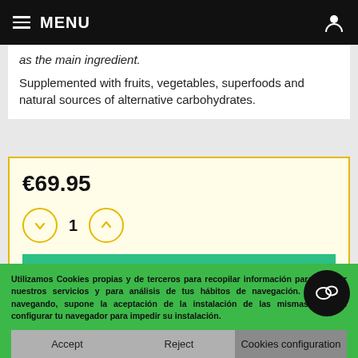MENU
as the main ingredient.
Supplemented with fruits, vegetables, superfoods and natural sources of alternative carbohydrates.
€69.95
1
Add To Basket
Utilizamos Cookies propias y de terceros para recopilar información para mejorar nuestros servicios y para análisis de tus hábitos de navegación. Si sigues navegando, supone la aceptación de la instalación de las mismas. Puedes configurar tu navegador para impedir su instalación.
Accept
Reject
Cookies configuration